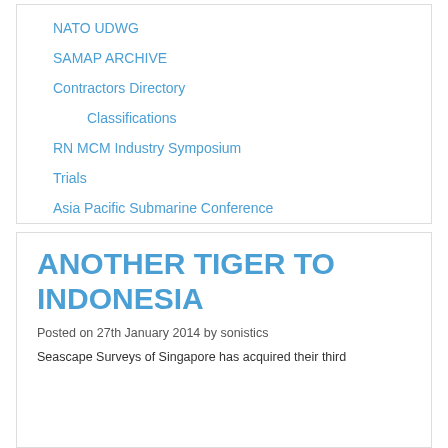NATO UDWG
SAMAP ARCHIVE
Contractors Directory
Classifications
RN MCM Industry Symposium
Trials
Asia Pacific Submarine Conference
ANOTHER TIGER TO INDONESIA
Posted on 27th January 2014 by sonistics
Seascape Surveys of Singapore has acquired their third